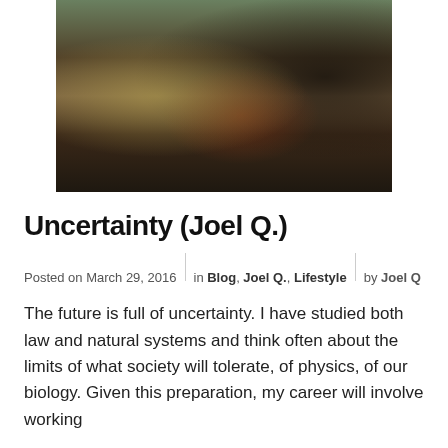[Figure (photo): Close-up photograph of a vintage bicycle frame with rusty paint, decorative sticker, and a red rear reflector, with bicycle spokes visible on the left and a dark background on the right.]
Uncertainty (Joel Q.)
Posted on March 29, 2016  |  in Blog, Joel Q., Lifestyle  |  by Joel Q
The future is full of uncertainty. I have studied both law and natural systems and think often about the limits of what society will tolerate, of physics, of our biology. Given this preparation, my career will involve working